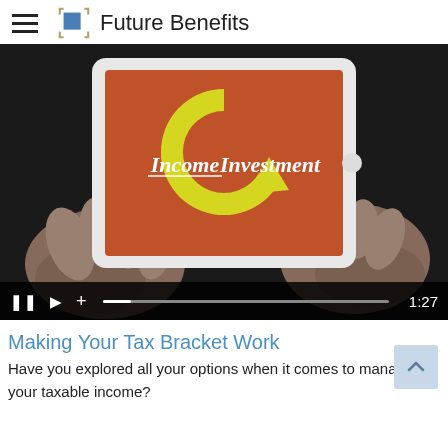Future Benefits
[Figure (screenshot): Video player showing a tablet held by two hands displaying an orange screen with a yellow circular arrow icon and the text 'Income Investment'. Video controls bar shows pause, play, add buttons, progress bar, and timestamp 1:27.]
Making Your Tax Bracket Work
Have you explored all your options when it comes to managing your taxable income?